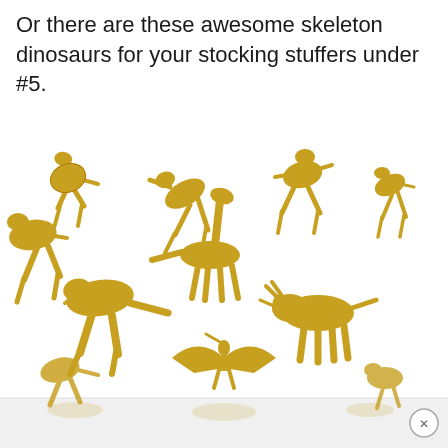Or there are these awesome skeleton dinosaurs for your stocking stuffers under #5.
[Figure (photo): Multiple gold-colored plastic skeleton dinosaur figurines arranged on a white background, showing various dinosaur species in skeletal form including T-rex, brontosaurus, triceratops, pterodactyl, and others. The figurines are golden/amber colored and appear translucent.]